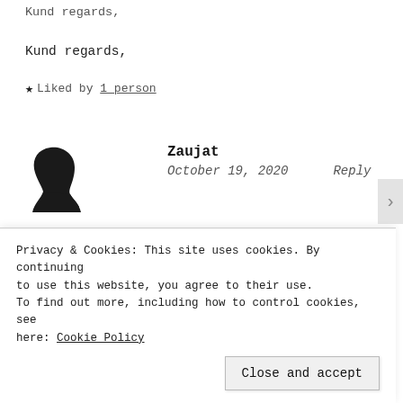Kund regards,
★ Liked by 1 person
Zaujat
October 19, 2020    Reply
Thanks Rob
Privacy & Cookies: This site uses cookies. By continuing to use this website, you agree to their use.
To find out more, including how to control cookies, see here: Cookie Policy
Close and accept